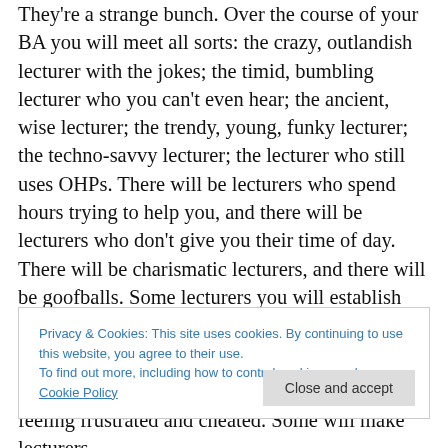They're a strange bunch. Over the course of your BA you will meet all sorts: the crazy, outlandish lecturer with the jokes; the timid, bumbling lecturer who you can't even hear; the ancient, wise lecturer; the trendy, young, funky lecturer; the techno-savvy lecturer; the lecturer who still uses OHPs. There will be lecturers who spend hours trying to help you, and there will be lecturers who don't give you their time of day. There will be charismatic lecturers, and there will be goofballs. Some lecturers you will establish fantastic working relationships with, and some you will struggle to get a one-line email response from.
Privacy & Cookies: This site uses cookies. By continuing to use this website, you agree to their use. To find out more, including how to control cookies, see here: Cookie Policy
feeling frustrated and cheated. Some will make lecturers